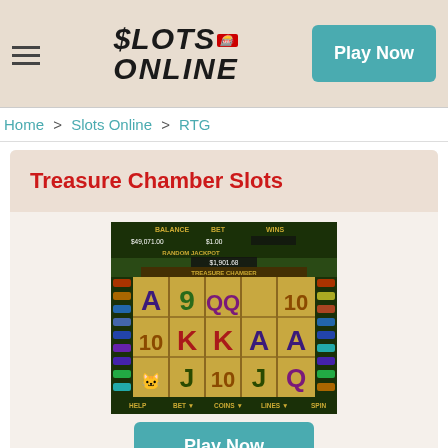$LOTS ONLINE | Play Now
Home > Slots Online > RTG
Treasure Chamber Slots
[Figure (screenshot): Treasure Chamber Slots game screenshot showing a 5-reel slot machine with symbols A, 9, Q, Q, 10 on top row, 10, K, K, A, A on middle row, and animal, J, 10, J, Q on bottom row. Balance: $49,071.00, Bet: $1.00, Random Jackpot: $1,901.68]
Play Now